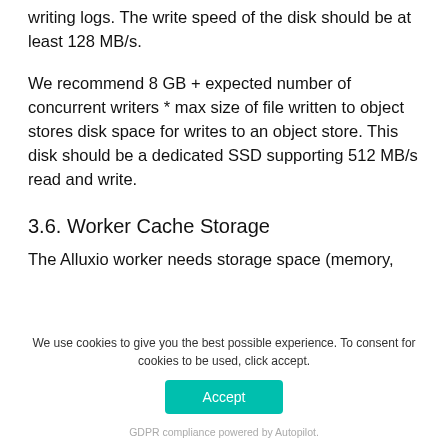writing logs. The write speed of the disk should be at least 128 MB/s.
We recommend 8 GB + expected number of concurrent writers * max size of file written to object stores disk space for writes to an object store. This disk should be a dedicated SSD supporting 512 MB/s read and write.
3.6. Worker Cache Storage
The Alluxio worker needs storage space (memory,
We use cookies to give you the best possible experience. To consent for cookies to be used, click accept.
Accept
GDPR compliance powered by Autopilot.